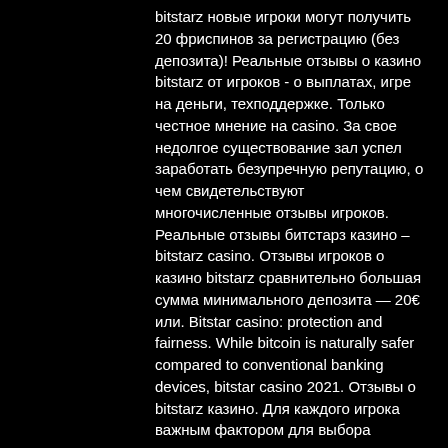bitstarz новые игроки могут получить 20 фриспинов за регистрацию (без депозита)! Реальные отзывы о казино bitstarz от игроков - о выплатах, игре на деньги, техподдержке. Только честное мнение на casino. За свое недолгое существование зал успел заработать безупречную репутацию, о чем свидетельствуют многочисленные отзывы игроков. Реальные отзывы битстарз казино – bitstarz casino. Отзывы игроков о казино bitstarz сравнительно большая сумма минимального депозита — 20€ или. Bitstar casino: protection and fairness. While bitcoin is naturally safer compared to conventional banking devices, bitstar casino 2021. Отзывы о bitstarz казино. Для каждого игрока важным фактором для выбора казино, является его надежность. Ндежные заведения определяются по нескольким факторов,. Чем привлекает